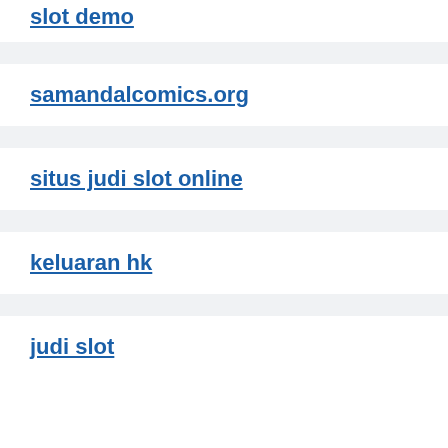slot demo
samandalcomics.org
situs judi slot online
keluaran hk
judi slot